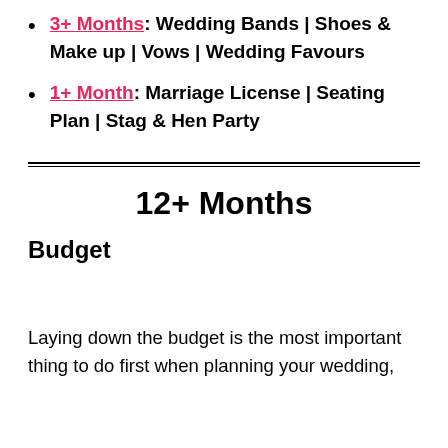3+ Months: Wedding Bands | Shoes & Make up | Vows | Wedding Favours
1+ Month: Marriage License | Seating Plan | Stag & Hen Party
12+ Months
Budget
Laying down the budget is the most important thing to do first when planning your wedding,